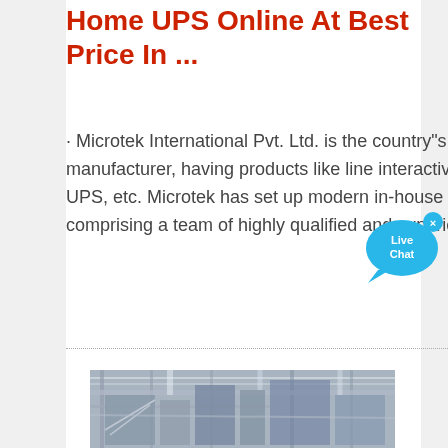Home UPS Online At Best Price In ...
· Microtek International Pvt. Ltd. is the country"s largest power products manufacturer, having products like line interactive UPS, inverters, online UPS, etc. Microtek has set up modern in-house comprehensive R&D, comprising a team of highly qualified and experienced professionals.
[Figure (illustration): Live Chat bubble icon in cyan/blue with white text 'Live Chat' and a small 'x' close button]
[Figure (photo): Interior of a manufacturing facility showing large industrial machinery, pipes, scaffolding under fluorescent lighting]